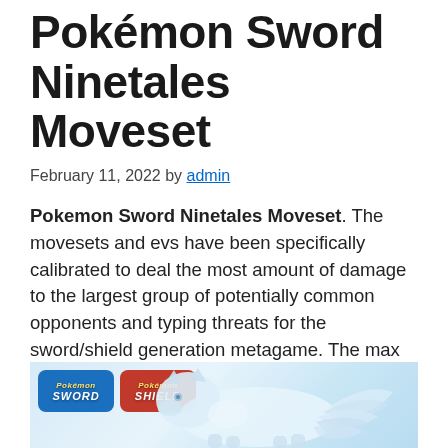Pokemon Sword Ninetales Moveset
February 11, 2022 by admin
Pokemon Sword Ninetales Moveset. The movesets and evs have been specifically calibrated to deal the most amount of damage to the largest group of potentially common opponents and typing threats for the sword/shield generation metagame. The max iv stats of alolan ninetales are 73 hp, 67 attack, 81.
[Figure (photo): Pokemon Sword and Shield logos with Alolan Ninetales artwork on a light blue background]